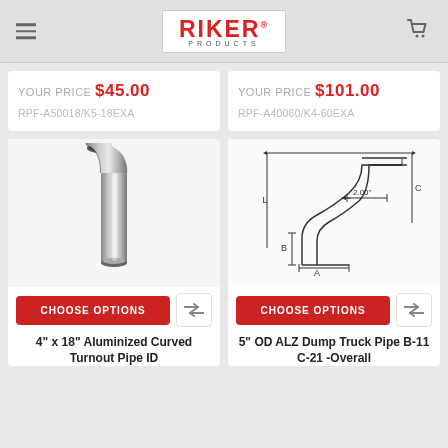RIKER PRODUCTS
YOUR PRICE $45.00
RPF-A50018/K5-18EXA
YOUR PRICE $101.00
RPF-A40060/K4-60EXA
[Figure (photo): 4 inch x 18 inch aluminized curved turnout exhaust pipe, chrome metallic finish, curved at top]
[Figure (engineering-diagram): Technical diagram of 5 inch OD ALZ Dump Truck Pipe showing dimensions A, B, C, L with 2.00 inch offset measurement]
CHOOSE OPTIONS
CHOOSE OPTIONS
4" x 18" Aluminized Curved Turnout Pipe ID
5" OD ALZ Dump Truck Pipe B-11 C-21 -Overall